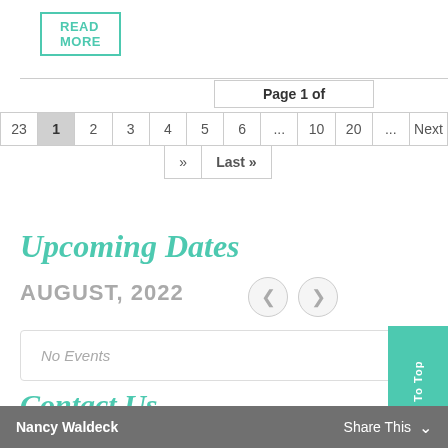READ MORE
Page 1 of
23  1  2  3  4  5  6  ...  10  20  ...  Next
»  Last »
Upcoming Dates
AUGUST, 2022
No Events
Contact Us
Nancy Waldeck    Share This  ∨